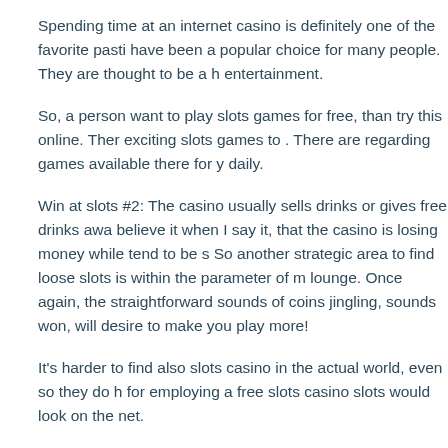Spending time at an internet casino is definitely one of the favorite pasti... have been a popular choice for many people. They are thought to be a h... entertainment.
So, a person want to play slots games for free, than try this online. Ther... exciting slots games to . There are regarding games available there for y... daily.
Win at slots #2: The casino usually sells drinks or gives free drinks awa... believe it when I say it, that the casino is losing money while tend to be s... So another strategic area to find loose slots is within the parameter of m... lounge. Once again, the straightforward sounds of coins jingling, sounds... won, will desire to make you play more!
It's harder to find also slots casino in the actual world, even so they do h... for employing a free slots casino slots would look on the net.
There may be times when you can ride the high stakes and that's good.... situations when you may only do with minimal trades? Should สล็อตออนไลน์...
Craps the particular of probably the most popular Internet casino slots vi... players bet around the outcome of this rolling of two dice. You can make... of things like the specific roll, a variety of possible rolls, even though the...